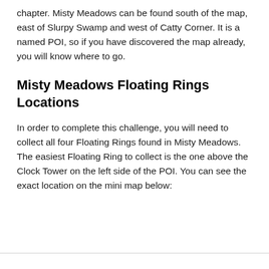chapter. Misty Meadows can be found south of the map, east of Slurpy Swamp and west of Catty Corner. It is a named POI, so if you have discovered the map already, you will know where to go.
Misty Meadows Floating Rings Locations
In order to complete this challenge, you will need to collect all four Floating Rings found in Misty Meadows. The easiest Floating Ring to collect is the one above the Clock Tower on the left side of the POI. You can see the exact location on the mini map below: